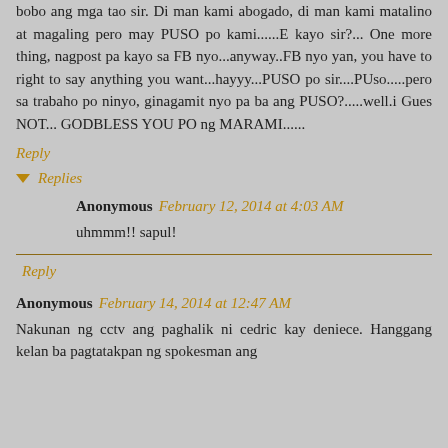bobo ang mga tao sir. Di man kami abogado, di man kami matalino at magaling pero may PUSO po kami......E kayo sir?... One more thing, nagpost pa kayo sa FB nyo...anyway..FB nyo yan, you have to right to say anything you want...hayyy...PUSO po sir....PUso.....pero sa trabaho po ninyo, ginagamit nyo pa ba ang PUSO?.....well.i Gues NOT... GODBLESS YOU PO ng MARAMI......
Reply
Replies
Anonymous February 12, 2014 at 4:03 AM
uhmmm!! sapul!
Reply
Anonymous February 14, 2014 at 12:47 AM
Nakunan ng cctv ang paghalik ni cedric kay deniece. Hanggang kelan ba pagtatakpan ng spokesman ang